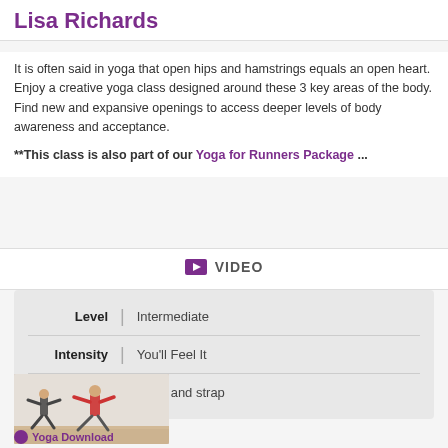Lisa Richards
It is often said in yoga that open hips and hamstrings equals an open heart. Enjoy a creative yoga class designed around these 3 key areas of the body. Find new and expansive openings to access deeper levels of body awareness and acceptance.
**This class is also part of our Yoga for Runners Package ...
VIDEO
| Field | Value |
| --- | --- |
| Level | Intermediate |
| Intensity | You'll Feel It |
| Props | block and strap |
[Figure (photo): Two women practicing yoga warrior pose in a studio with wood floor and white curtain backdrop]
Yoga Download